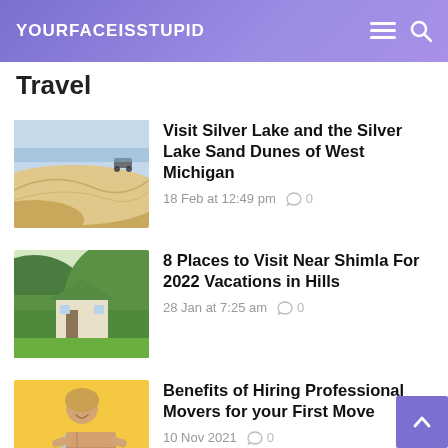YOURFACEISSTUPID
Travel
[Figure (photo): Sand dunes with a vehicle in the distance, West Michigan]
Visit Silver Lake and the Silver Lake Sand Dunes of West Michigan
18 Feb at 12:49 pm   0
[Figure (photo): Green hillside with a house and manicured lawn near Shimla]
8 Places to Visit Near Shimla For 2022 Vacations in Hills
28 Jan at 7:25 am   0
[Figure (photo): Woman holding moving boxes on yellow background]
Benefits of Hiring Professional Movers for your First Move
10 Nov 2021   0